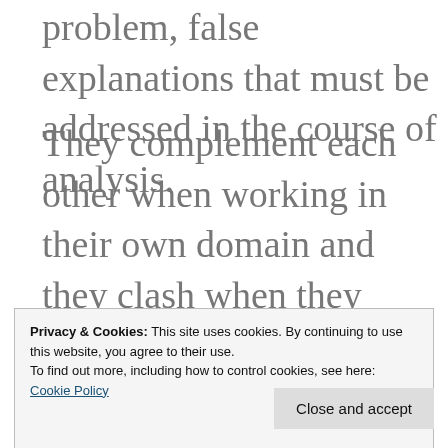problem, false explanations that must be addressed in the course of analysis.
They complement each other when working in their own domain and they clash when they stray from it. The suspicion of conspiracy-theoretic explanation and depth
Privacy & Cookies: This site uses cookies. By continuing to use this website, you agree to their use. To find out more, including how to control cookies, see here: Cookie Policy
Close and accept
and warns the Lacanian off trying to